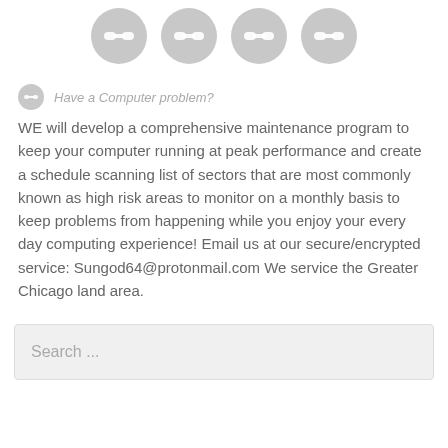[Figure (illustration): Four gray circular icons with chain-link symbols arranged in a row]
Have a Computer problem?
WE will develop a comprehensive maintenance program to keep your computer running at peak performance and create a schedule scanning list of sectors that are most commonly known as high risk areas to monitor on a monthly basis to keep problems from happening while you enjoy your every day computing experience! Email us at our secure/encrypted service: Sungod64@protonmail.com We service the Greater Chicago land area.
Search ...